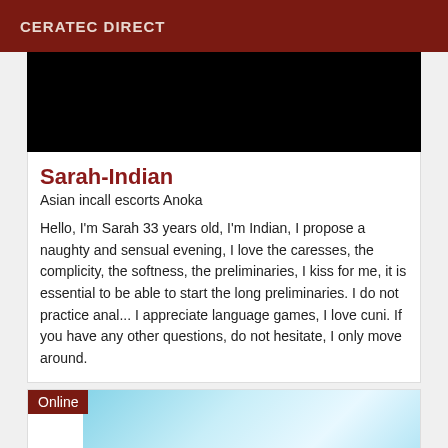CERATEC DIRECT
[Figure (photo): Black image placeholder at top of listing card]
Sarah-Indian
Asian incall escorts Anoka
Hello, I'm Sarah 33 years old, I'm Indian, I propose a naughty and sensual evening, I love the caresses, the complicity, the softness, the preliminaries, I kiss for me, it is essential to be able to start the long preliminaries. I do not practice anal... I appreciate language games, I love cuni. If you have any other questions, do not hesitate, I only move around.
[Figure (photo): Second listing card with Online badge and blue gradient background image]